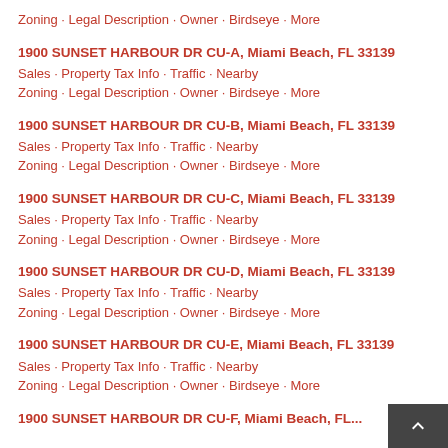Zoning · Legal Description · Owner · Birdseye · More
1900 SUNSET HARBOUR DR CU-A, Miami Beach, FL 33139
Sales · Property Tax Info · Traffic · Nearby
Zoning · Legal Description · Owner · Birdseye · More
1900 SUNSET HARBOUR DR CU-B, Miami Beach, FL 33139
Sales · Property Tax Info · Traffic · Nearby
Zoning · Legal Description · Owner · Birdseye · More
1900 SUNSET HARBOUR DR CU-C, Miami Beach, FL 33139
Sales · Property Tax Info · Traffic · Nearby
Zoning · Legal Description · Owner · Birdseye · More
1900 SUNSET HARBOUR DR CU-D, Miami Beach, FL 33139
Sales · Property Tax Info · Traffic · Nearby
Zoning · Legal Description · Owner · Birdseye · More
1900 SUNSET HARBOUR DR CU-E, Miami Beach, FL 33139
Sales · Property Tax Info · Traffic · Nearby
Zoning · Legal Description · Owner · Birdseye · More
1900 SUNSET HARBOUR DR CU-F, Miami Beach, FL...